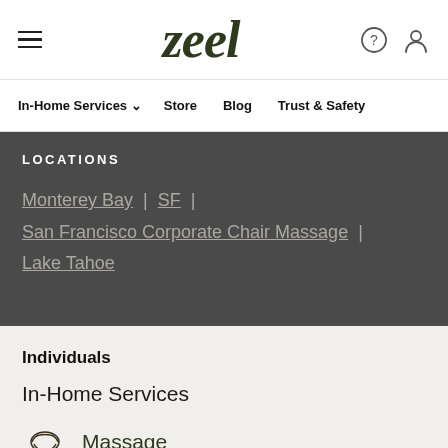zeel
In-Home Services | Store | Blog | Trust & Safety
LOCATIONS
Monterey Bay | SF | San Francisco Corporate Chair Massage | Lake Tahoe
Individuals
In-Home Services
Massage